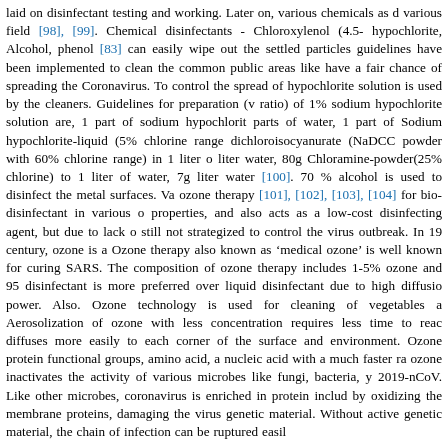laid on disinfectant testing and working. Later on, various chemicals as d various field [98], [99]. Chemical disinfectants - Chloroxylenol (4.5- hypochlorite, Alcohol, phenol [83] can easily wipe out the settled particles guidelines have been implemented to clean the common public areas like have a fair chance of spreading the Coronavirus. To control the spread of hypochlorite solution is used by the cleaners. Guidelines for preparation (v ratio) of 1% sodium hypochlorite solution are, 1 part of sodium hypochlorit parts of water, 1 part of Sodium hypochlorite-liquid (5% chlorine range dichloroisocyanurate (NaDCC powder with 60% chlorine range) in 1 liter o liter water, 80g Chloramine-powder(25% chlorine) to 1 liter of water, 7g liter water [100]. 70 % alcohol is used to disinfect the metal surfaces. Va ozone therapy [101], [102], [103], [104] for bio-disinfectant in various o properties, and also acts as a low-cost disinfecting agent, but due to lack o still not strategized to control the virus outbreak. In 19 century, ozone is a Ozone therapy also known as 'medical ozone' is well known for curing SARS. The composition of ozone therapy includes 1-5% ozone and 95 disinfectant is more preferred over liquid disinfectant due to high diffusio power. Also. Ozone technology is used for cleaning of vegetables a Aerosolization of ozone with less concentration requires less time to reac diffuses more easily to each corner of the surface and environment. Ozone protein functional groups, amino acid, a nucleic acid with a much faster ra ozone inactivates the activity of various microbes like fungi, bacteria, y 2019-nCoV. Like other microbes, coronavirus is enriched in protein includ by oxidizing the membrane proteins, damaging the virus genetic material. Without active genetic material, the chain of infection can be ruptured easil
4. CONCLUSION AND FUTURE R